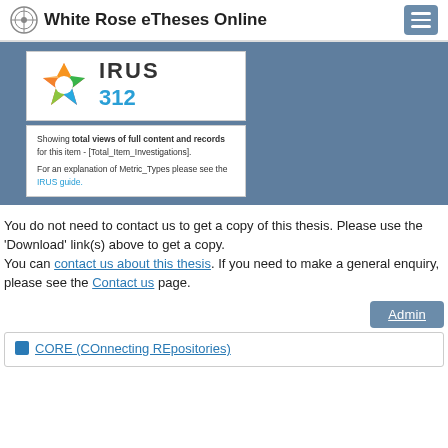White Rose eTheses Online
[Figure (screenshot): IRUS logo widget showing count 312 in blue]
Showing total views of full content and records for this item - [Total_Item_Investigations]. For an explanation of Metric_Types please see the IRUS guide.
You do not need to contact us to get a copy of this thesis. Please use the 'Download' link(s) above to get a copy.
You can contact us about this thesis. If you need to make a general enquiry, please see the Contact us page.
Admin
CORE (COnnecting REpositories)